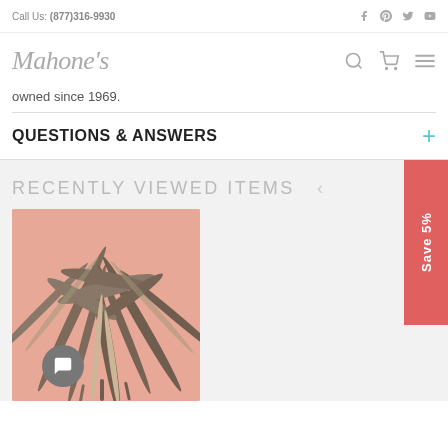Call Us: (877)316-9930
[Figure (logo): Mahone's script logo with search, cart, and menu icons]
owned since 1969.
QUESTIONS & ANSWERS
RECENTLY VIEWED ITEMS
[Figure (photo): Tropical palm leaf wallpaper on pink/salmon background]